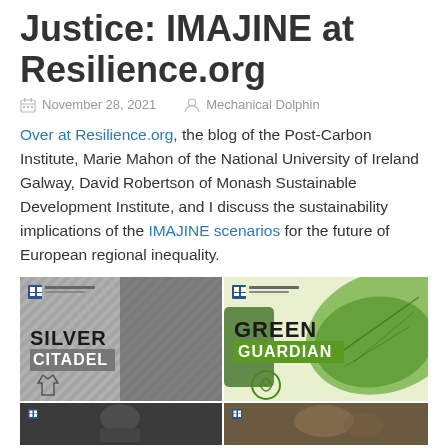Justice: IMAJINE at Resilience.org
November 28, 2021   Mechanical Dolphin
Over at Resilience.org, the blog of the Post-Carbon Institute, Marie Mahon of the National University of Ireland Galway, David Robertson of Monash Sustainable Development Institute, and I discuss the sustainability implications of the IMAJINE scenarios for the future of European regional inequality.
[Figure (illustration): Four-panel image showing IMAJINE scenario covers: Silver Citadel (black and white, top left), Green Guardian (green with leaf imagery, top right), and two more panels partially visible at bottom.]